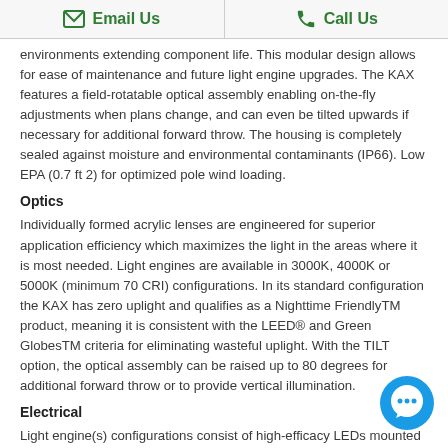Email Us | Call Us
environments extending component life. This modular design allows for ease of maintenance and future light engine upgrades. The KAX features a field-rotatable optical assembly enabling on-the-fly adjustments when plans change, and can even be tilted upwards if necessary for additional forward throw. The housing is completely sealed against moisture and environmental contaminants (IP66). Low EPA (0.7 ft 2) for optimized pole wind loading.
Optics
Individually formed acrylic lenses are engineered for superior application efficiency which maximizes the light in the areas where it is most needed. Light engines are available in 3000K, 4000K or 5000K (minimum 70 CRI) configurations. In its standard configuration the KAX has zero uplight and qualifies as a Nighttime FriendlyTM product, meaning it is consistent with the LEED® and Green GlobesTM criteria for eliminating wasteful uplight. With the TILT option, the optical assembly can be raised up to 80 degrees for additional forward throw or to provide vertical illumination.
Electrical
Light engine(s) configurations consist of high-efficacy LEDs mounted to metal-core circuit boards to maximize heat dissipation and promote long life (>L80/100,000 hours). Class 1 electronic drivers are designed to have a power factor >90%, THD <20%, and an expected life of 100,000 hours. Easily serviceable 10kV surge protection device meets a minimum Category C L operation (per ANSI/IEEE C62.41.2).
Installation